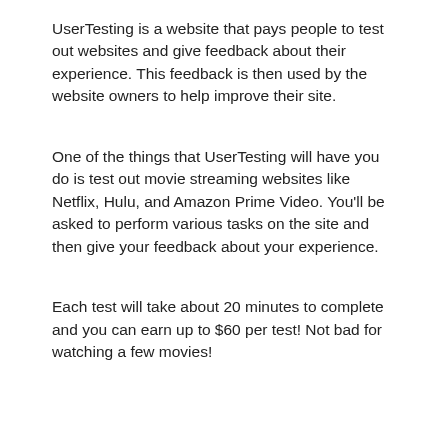UserTesting is a website that pays people to test out websites and give feedback about their experience. This feedback is then used by the website owners to help improve their site.
One of the things that UserTesting will have you do is test out movie streaming websites like Netflix, Hulu, and Amazon Prime Video. You'll be asked to perform various tasks on the site and then give your feedback about your experience.
Each test will take about 20 minutes to complete and you can earn up to $60 per test! Not bad for watching a few movies!